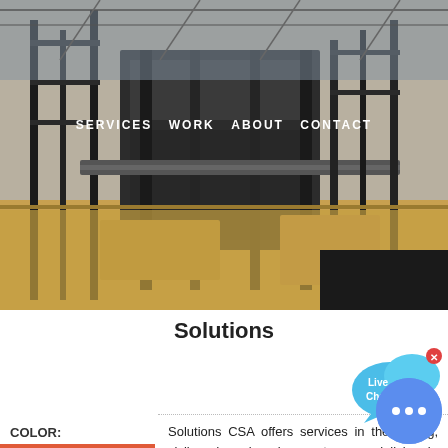[Figure (photo): Industrial mining/engineering facility with metal scaffolding, conveyor structures, and machinery under bright outdoor light]
SERVICES   WORK   ABOUT   CONTACT
Solutions
[Figure (infographic): Live Chat speech bubble widget in blue with 'x' close button]
| COLOR: |
| --- |
| Orange |
| Blue |
| Yellow |
Solutions CSA offers services in the mining, civil and engineering sectors specialising in crushing and screening services. We focus and stick to what we know best – crushing and screening which enables us to set stretch targets, have clear and concise communication and deliver on what we promise. We provide a complete project...
[Figure (infographic): Blue circular chat button with three dots indicating live chat support]